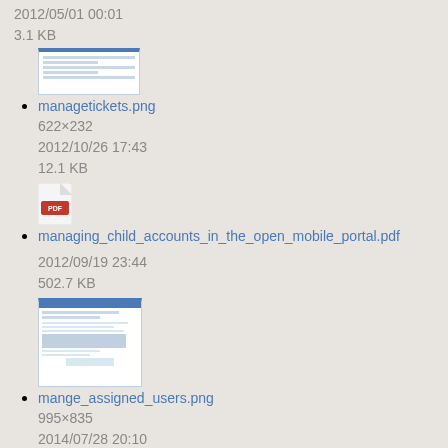2012/05/01 00:01
3.1 KB
[Figure (screenshot): Thumbnail of managetickets.png showing a table-like screen with blue header bar]
managetickets.png
622×232
2012/10/26 17:43
12.1 KB
[Figure (screenshot): PDF file icon for managing_child_accounts_in_the_open_mobile_portal.pdf]
managing_child_accounts_in_the_open_mobile_portal.pdf
2012/09/19 23:44
502.7 KB
[Figure (screenshot): Thumbnail of mange_assigned_users.png showing a form-like screen with blue header bar]
mange_assigned_users.png
995×835
2014/07/28 20:10
28.7 KB